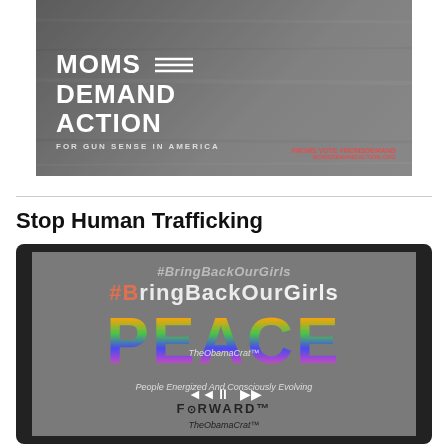[Figure (photo): Moms Demand Action for Gun Sense in America banner/advertisement with dark background, white text, hashtags #MOMS VOTE #MOMSDEMAND and website MOMSDEMANDACTION.ORG]
Stop Human Trafficking
[Figure (screenshot): Screenshot of a tablet showing a social media video/image with #BringBackOurGirls text, colorful PEACE lettering in rainbow gradient, image of Obama, text 'TheObamaCrat™', 'People Energized And Consciously Evolving', 'FORWARD', and 'TheObamaCrat™' at bottom, with video playback controls visible]